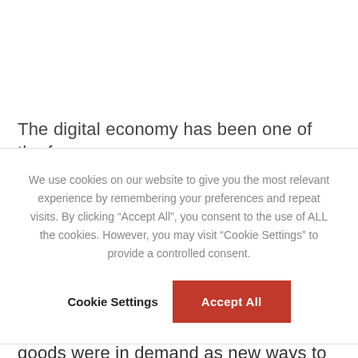The digital economy has been one of the few
We use cookies on our website to give you the most relevant experience by remembering your preferences and repeat visits. By clicking “Accept All”, you consent to the use of ALL the cookies. However, you may visit “Cookie Settings” to provide a controlled consent.
Cookie Settings   Accept All
and the general public alike) needs immediately shifted. Suddenly, a vast majority had to have the digital capabilities to work from home. Digital goods were in demand as new ways to communicate were necessary, leading internet-